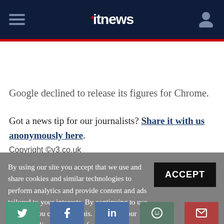itnews
Google declined to release its figures for Chrome.
Got a news tip for our journalists? Share it with us anonymously here.
Copyright ©v3.co.uk
By using our site you accept that we use and share cookies and similar technologies to perform analytics and provide content and ads tailored to your interests. By continuing to use our site, you consent to this. Please see our Cookie Policy for more information.